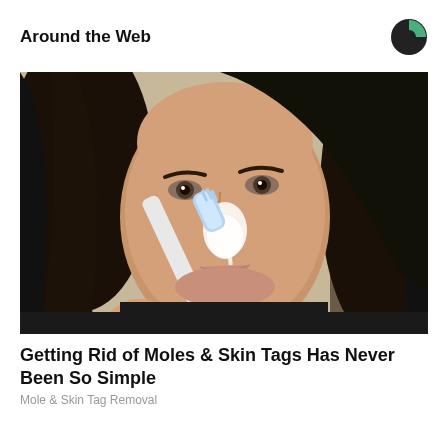Around the Web
[Figure (photo): A woman with dark hair applying something white to her nose with a toothbrush, close-up face shot]
Getting Rid of Moles & Skin Tags Has Never Been So Simple
Mole & Skin Tag Removal